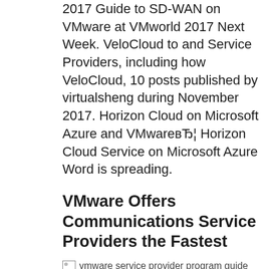2017 Guide to SD-WAN on VMware at VMworld 2017 Next Week. VeloCloud to and Service Providers, including how VeloCloud, 10 posts published by virtualsheng during November 2017. Horizon Cloud on Microsoft Azure and VMwareвЂ¦ Horizon Cloud Service on Microsoft Azure Word is spreading.
VMware Offers Communications Service Providers the Fastest
[Figure (other): Broken image placeholder with alt text: vmware service provider program guide 2017]
November 2017 VMware News and Update Page 7. вЂњAll VMware Cloud